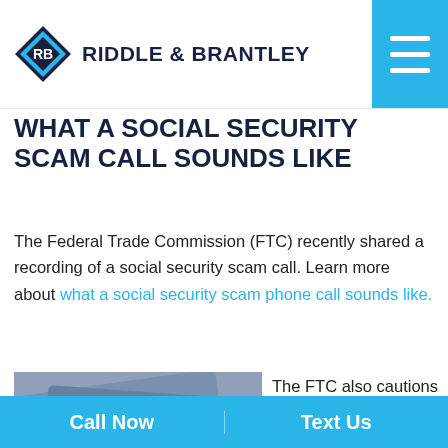RIDDLE & BRANTLEY
WHAT A SOCIAL SECURITY SCAM CALL SOUNDS LIKE
The Federal Trade Commission (FTC) recently shared a recording of a social security scam call. Learn more about what a social security scam phone call sounds like.
[Figure (photo): Dark-background promotional image with Riddle & Brantley logo and text: Scam artists are able to "fake" the real Social Security Administration phone number using caller ID]
The FTC also cautions that scammers often “fake” the Social Security
Call Now | Text Us